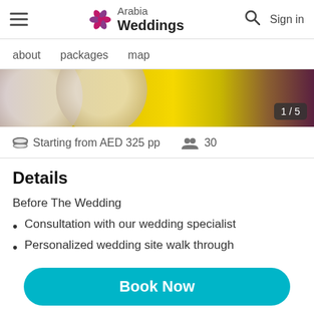Arabia Weddings — Sign in
about  packages  map
[Figure (photo): Photo strip showing decorative plates and food items with warm yellow and purple hues, showing image 1 of 5]
Starting from AED 325 pp   30
Details
Before The Wedding
Consultation with our wedding specialist
Personalized wedding site walk through
List of recommended wedding planners
Book Now